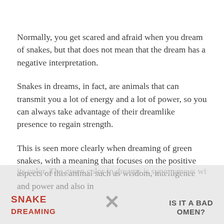Normally, you get scared and afraid when you dream of snakes, but that does not mean that the dream has a negative interpretation.
Snakes in dreams, in fact, are animals that can transmit you a lot of energy and a lot of power, so you can always take advantage of their dreamlike presence to regain strength.
This is seen more clearly when dreaming of green snakes, with a meaning that focuses on the positive aspects of this animal such as wisdom, intelligence and power and also in its color. The green color in dreams is synonymous with
[Figure (other): Partially visible advertisement or banner image at the bottom of the page with text 'SNAKE', 'IS IT A BAD OMEN?' and a large X symbol, overlaid with a grey semi-transparent rectangle]